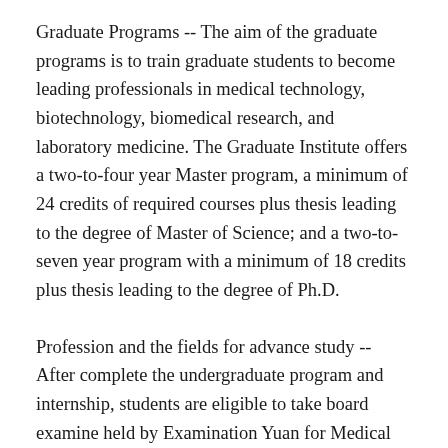Graduate Programs -- The aim of the graduate programs is to train graduate students to become leading professionals in medical technology, biotechnology, biomedical research, and laboratory medicine. The Graduate Institute offers a two-to-four year Master program, a minimum of 24 credits of required courses plus thesis leading to the degree of Master of Science; and a two-to-seven year program with a minimum of 18 credits plus thesis leading to the degree of Ph.D.
Profession and the fields for advance study -- After complete the undergraduate program and internship, students are eligible to take board examine held by Examination Yuan for Medical